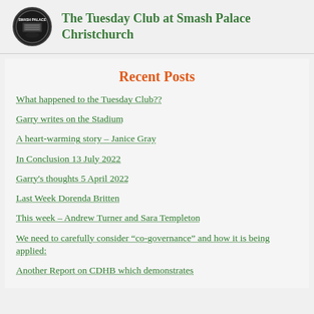The Tuesday Club at Smash Palace Christchurch
Recent Posts
What happened to the Tuesday Club??
Garry writes on the Stadium
A heart-warming story – Janice Gray
In Conclusion 13 July 2022
Garry's thoughts 5 April 2022
Last Week Dorenda Britten
This week – Andrew Turner and Sara Templeton
We need to carefully consider “co-governance” and how it is being applied:
Another Report on CDHB which demonstrates